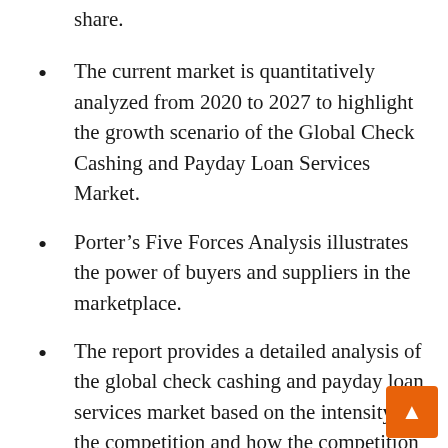share.
The current market is quantitatively analyzed from 2020 to 2027 to highlight the growth scenario of the Global Check Cashing and Payday Loan Services Market.
Porter’s Five Forces Analysis illustrates the power of buyers and suppliers in the marketplace.
The report provides a detailed analysis of the global check cashing and payday loan services market based on the intensity of the competition and how the competition will shape in the